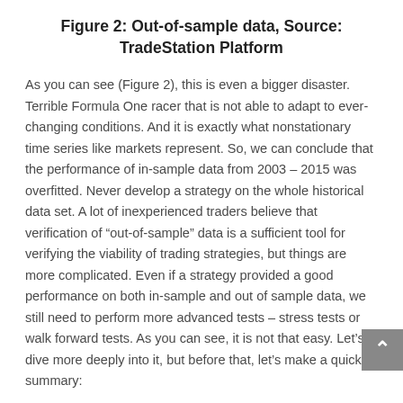Figure 2: Out-of-sample data, Source: TradeStation Platform
As you can see (Figure 2), this is even a bigger disaster. Terrible Formula One racer that is not able to adapt to ever-changing conditions. And it is exactly what nonstationary time series like markets represent. So, we can conclude that the performance of in-sample data from 2003 – 2015 was overfitted. Never develop a strategy on the whole historical data set. A lot of inexperienced traders believe that verification of “out-of-sample” data is a sufficient tool for verifying the viability of trading strategies, but things are more complicated. Even if a strategy provided a good performance on both in-sample and out of sample data, we still need to perform more advanced tests – stress tests or walk forward tests. As you can see, it is not that easy. Let’s dive more deeply into it, but before that, let’s make a quick summary: